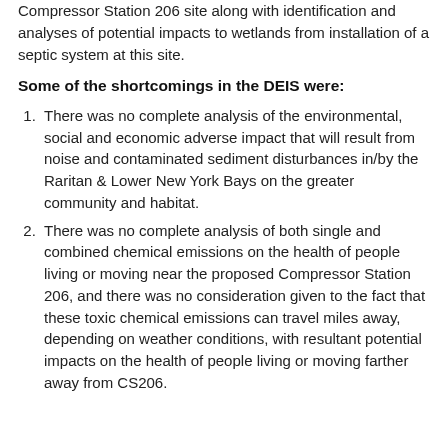Compressor Station 206 site along with identification and analyses of potential impacts to wetlands from installation of a septic system at this site.
Some of the shortcomings in the DEIS were:
There was no complete analysis of the environmental, social and economic adverse impact that will result from noise and contaminated sediment disturbances in/by the Raritan & Lower New York Bays on the greater community and habitat.
There was no complete analysis of both single and combined chemical emissions on the health of people living or moving near the proposed Compressor Station 206, and there was no consideration given to the fact that these toxic chemical emissions can travel miles away, depending on weather conditions, with resultant potential impacts on the health of people living or moving farther away from CS206.